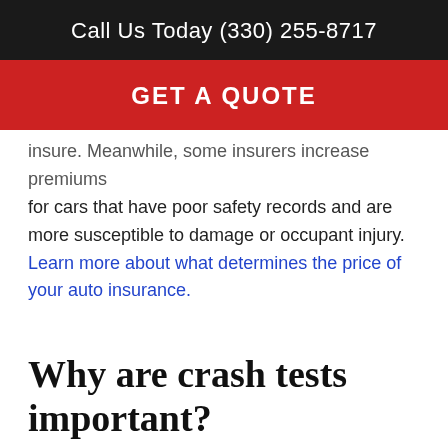Call Us Today (330) 255-8717
GET A QUOTE
insure. Meanwhile, some insurers increase premiums for cars that have poor safety records and are more susceptible to damage or occupant injury. Learn more about what determines the price of your auto insurance.
Why are crash tests important?